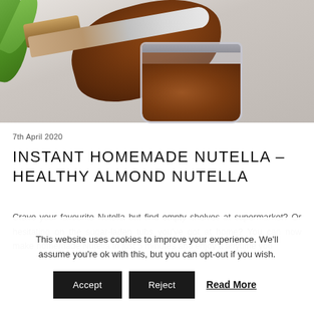[Figure (photo): A knife spreading chocolate-brown Nutella from a glass jar, with green plant leaves in the background, on a light surface.]
7th April 2020
INSTANT HOMEMADE NUTELLA – HEALTHY ALMOND NUTELLA
Crave your favourite Nutella but find empty shelves at supermarket? Or hesitating on the sugar-laden tubs you've got at home? You can now make homemade Nutella in just 5 minutes and enjoy it anytime you
This website uses cookies to improve your experience. We'll assume you're ok with this, but you can opt-out if you wish.